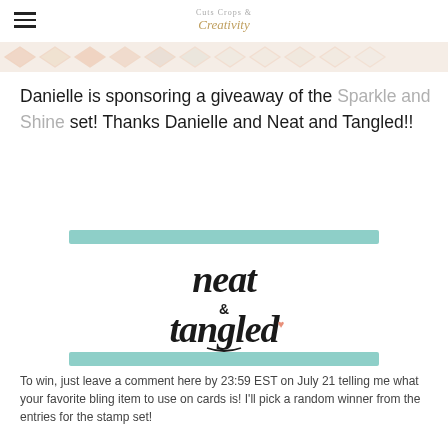Cuts, Crops & Creativity
[Figure (illustration): Decorative patterned strip with orange/coral geometric diamond shapes on a light background]
Danielle is sponsoring a giveaway of the Sparkle and Shine set! Thanks Danielle and Neat and Tangled!!
[Figure (logo): Neat & Tangled brand logo in black brush/script lettering with a small pink heart, flanked by two teal horizontal bars]
To win, just leave a comment here by 23:59 EST on July 21 telling me what your favorite bling item to use on cards is! I'll pick a random winner from the entries for the stamp set!